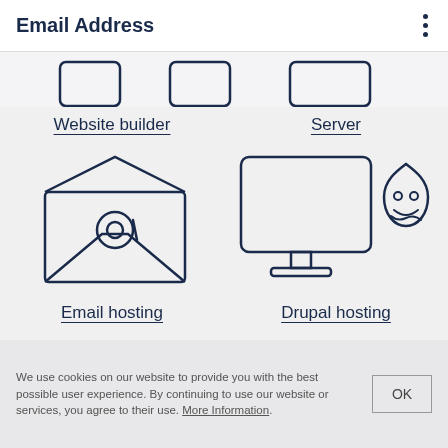Email Address
[Figure (illustration): Partial web hosting category icons (truncated at top of view) - website builder and server icons partially visible]
Website builder
Server
[Figure (illustration): Email hosting icon: open envelope with @ symbol inside]
[Figure (illustration): Drupal hosting icon: computer monitor with Drupal teardrop mascot logo]
Email hosting
Drupal hosting
We use cookies on our website to provide you with the best possible user experience. By continuing to use our website or services, you agree to their use. More Information.